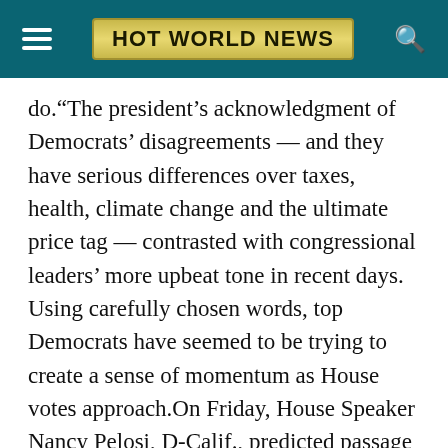HOT WORLD NEWS
do.“The president’s acknowledgment of Democrats’ disagreements — and they have serious differences over taxes, health, climate change and the ultimate price tag — contrasted with congressional leaders’ more upbeat tone in recent days. Using carefully chosen words, top Democrats have seemed to be trying to create a sense of momentum as House votes approach.On Friday, House Speaker Nancy Pelosi, D-Calif., predicted passage of both pillars of Biden’s domestic agenda. One is a still-evolving $3.5 trillion package of social safety net and climate programs, the other a separate $1 trillion measure financing highway, internet and other infrastructure projects that’s already passed the